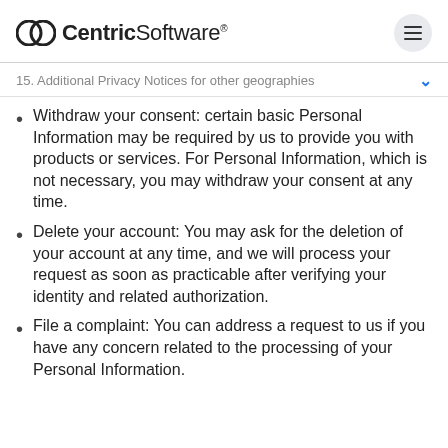CentricSoftware
15. Additional Privacy Notices for other geographies
Withdraw your consent: certain basic Personal Information may be required by us to provide you with products or services. For Personal Information, which is not necessary, you may withdraw your consent at any time.
Delete your account: You may ask for the deletion of your account at any time, and we will process your request as soon as practicable after verifying your identity and related authorization.
File a complaint: You can address a request to us if you have any concern related to the processing of your Personal Information.